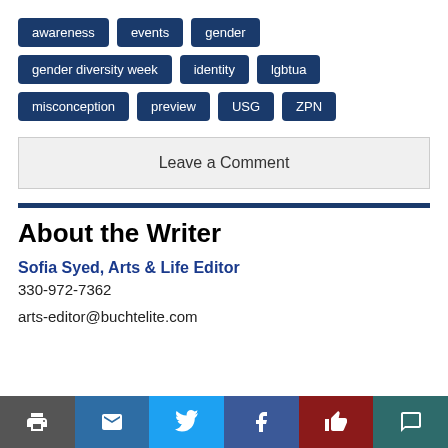awareness
events
gender
gender diversity week
identity
lgbtua
misconception
preview
USG
ZPN
Leave a Comment
About the Writer
Sofia Syed, Arts & Life Editor
330-972-7362
arts-editor@buchtelite.com